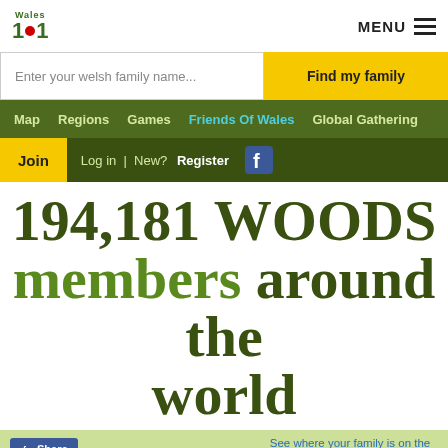Wales 101 — MENU
Enter your welsh family name...
Find my family
Map  Regions  Games  Friends Of Wales  Global Gathering
Join  Log in  | New? Register
194,181 WOODS members around the world
Share
By using our site we assume you are ok with our cookie policy
See where your family is on the Global Leader board
Ok